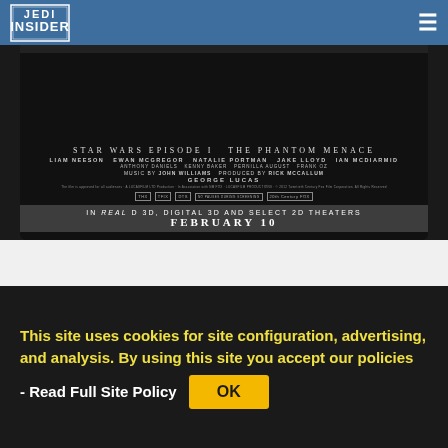Jedi Insider
[Figure (photo): Star Wars Episode I: The Phantom Menace movie poster / theatrical credit block showing cast including Liam Neeson, Ewan McGregor, Natalie Portman, Jake Lloyd, Ian McDiarmid, music by John Williams, produced by Rick McCallum, written and directed by George Lucas. Release in Real D 3D, Digital 3D and Select 2D Theaters, February 10.]
[Figure (photo): 22 Words advertisement banner with teal circular logo and woman looking at phone]
This site uses cookies for site configuration, advertising, and analysis. By using this site you accept our policies - Read Full Site Policy
OK